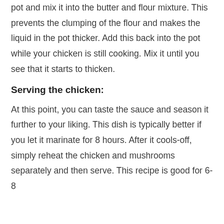pot and mix it into the butter and flour mixture. This prevents the clumping of the flour and makes the liquid in the pot thicker. Add this back into the pot while your chicken is still cooking. Mix it until you see that it starts to thicken.
Serving the chicken:
At this point, you can taste the sauce and season it further to your liking. This dish is typically better if you let it marinate for 8 hours. After it cools-off, simply reheat the chicken and mushrooms separately and then serve. This recipe is good for 6-8